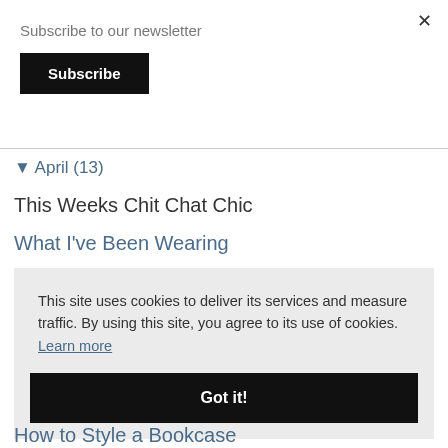Subscribe to our newsletter
Subscribe
▼ April (13)
This Weeks Chit Chat Chic
What I've Been Wearing
This site uses cookies to deliver its services and measure traffic. By using this site, you agree to its use of cookies. Learn more
Got it!
How to Style a Bookcase